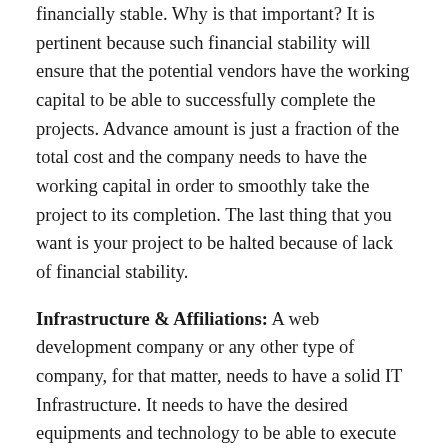financially stable. Why is that important? It is pertinent because such financial stability will ensure that the potential vendors have the working capital to be able to successfully complete the projects. Advance amount is just a fraction of the total cost and the company needs to have the working capital in order to smoothly take the project to its completion. The last thing that you want is your project to be halted because of lack of financial stability.
Infrastructure & Affiliations: A web development company or any other type of company, for that matter, needs to have a solid IT Infrastructure. It needs to have the desired equipments and technology to be able to execute the project with the desired technological prowess. The previous point plays a role here as well, because if the company is financial stable it would have the ability to equip the infrastructure with modern technology. Additionally, the information security systems can tell you